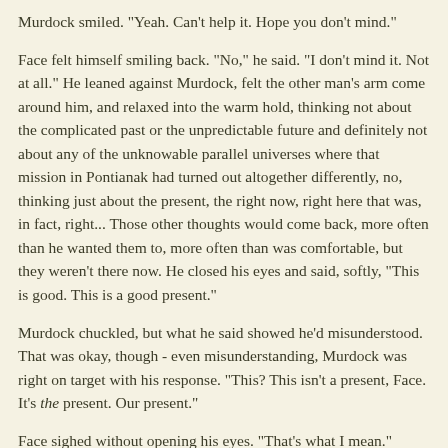Murdock smiled. "Yeah. Can't help it. Hope you don't mind."
Face felt himself smiling back. "No," he said. "I don't mind it. Not at all." He leaned against Murdock, felt the other man's arm come around him, and relaxed into the warm hold, thinking not about the complicated past or the unpredictable future and definitely not about any of the unknowable parallel universes where that mission in Pontianak had turned out altogether differently, no, thinking just about the present, the right now, right here that was, in fact, right... Those other thoughts would come back, more often than he wanted them to, more often than was comfortable, but they weren't there now. He closed his eyes and said, softly, "This is good. This is a good present."
Murdock chuckled, but what he said showed he'd misunderstood. That was okay, though - even misunderstanding, Murdock was right on target with his response. "This? This isn't a present, Face. It's the present. Our present."
Face sighed without opening his eyes. "That's what I mean."
The End
Original Footnote